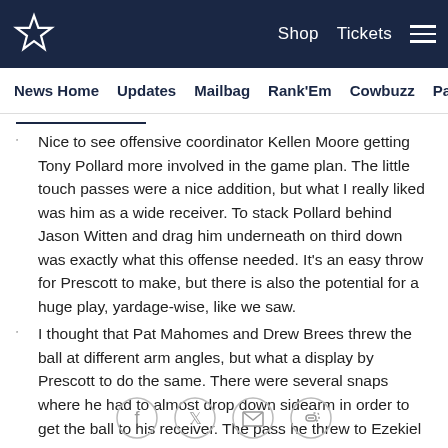Dallas Cowboys — Shop  Tickets  [menu]
News Home  Updates  Mailbag  Rank'Em  Cowbuzz  Past/Pres
Nice to see offensive coordinator Kellen Moore getting Tony Pollard more involved in the game plan. The little touch passes were a nice addition, but what I really liked was him as a wide receiver. To stack Pollard behind Jason Witten and drag him underneath on third down was exactly what this offense needed. It's an easy throw for Prescott to make, but there is also the potential for a huge play, yardage-wise, like we saw.
I thought that Pat Mahomes and Drew Brees threw the ball at different arm angles, but what a display by Prescott to do the same. There were several snaps where he had to almost drop down sidearm in order to get the ball to his receiver. The pass he threw to Ezekiel